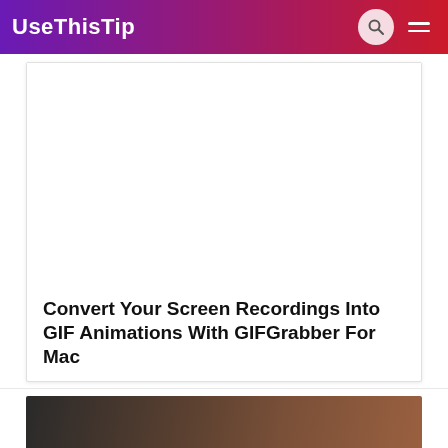UseThisTip
[Figure (screenshot): Blank white image placeholder area within article card]
Convert Your Screen Recordings Into GIF Animations With GIFGrabber For Mac
[Figure (photo): Partial bottom image peek showing dark tones, partially visible]